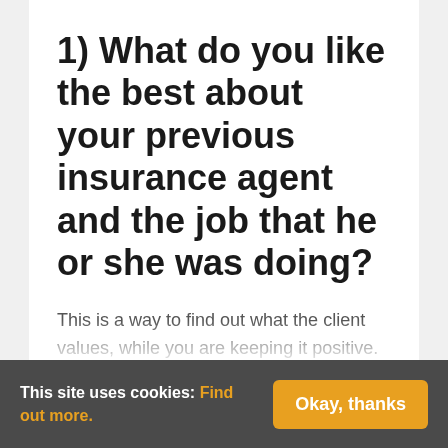1) What do you like the best about your previous insurance agent and the job that he or she was doing?
This is a way to find out what the client values, while you are keeping it positive. (Note, you should never ask what they didn't like or hated with their previous insurance
This site uses cookies: Find out more. Okay, thanks